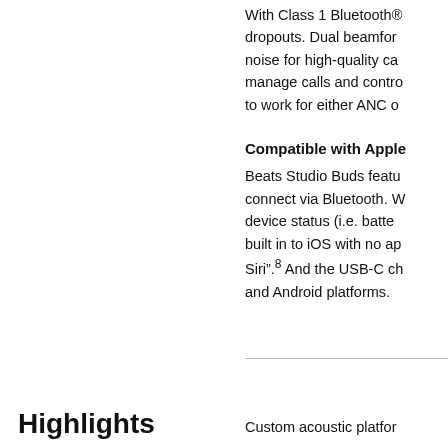With Class 1 Bluetooth® dropouts. Dual beamforming noise for high-quality ca manage calls and contro to work for either ANC o
Compatible with Apple
Beats Studio Buds featu connect via Bluetooth. W device status (i.e. batte built in to iOS with no ap Siri".⁸ And the USB-C ch and Android platforms.
Highlights
Custom acoustic platfor